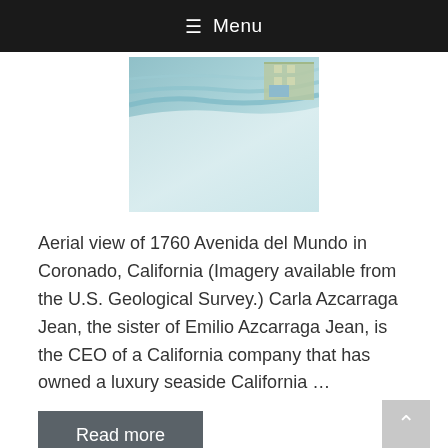≡ Menu
[Figure (photo): Aerial/satellite view of 1760 Avenida del Mundo in Coronado, California, showing a coastal area with beach, ocean waves, and buildings from above.]
Aerial view of 1760 Avenida del Mundo in Coronado, California (Imagery available from the U.S. Geological Survey.) Carla Azcarraga Jean, the sister of Emilio Azcarraga Jean, is the CEO of a California company that has owned a luxury seaside California …
Read more